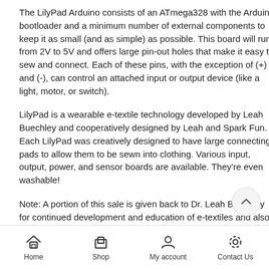The LilyPad Arduino consists of an ATmega328 with the Arduino bootloader and a minimum number of external components to keep it as small (and as simple) as possible. This board will run from 2V to 5V and offers large pin-out holes that make it easy to sew and connect. Each of these pins, with the exception of (+) and (-), can control an attached input or output device (like a light, motor, or switch).
LilyPad is a wearable e-textile technology developed by Leah Buechley and cooperatively designed by Leah and Spark Fun. Each LilyPad was creatively designed to have large connecting pads to allow them to be sewn into clothing. Various input, output, power, and sensor boards are available. They're even washable!
Note: A portion of this sale is given back to Dr. Leah Buechley for continued development and education of e-textiles and also to Arduino LLC to help fund continued development of new tools and new IDE features.
Home  Shop  My account  Contact Us